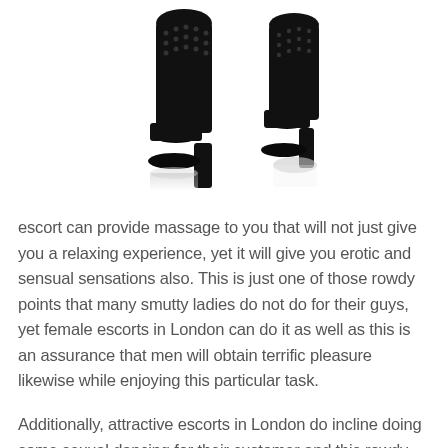[Figure (photo): Two black high-heeled platform boots photographed from below on a white background]
escort can provide massage to you that will not just give you a relaxing experience, yet it will give you erotic and sensual sensations also. This is just one of those rowdy points that many smutty ladies do not do for their guys, yet female escorts in London can do it as well as this is an assurance that men will obtain terrific pleasure likewise while enjoying this particular task.
Additionally, attractive escorts in London do incline doing some sexual dancing for their customer and this rowdy dance can assist a man to have great enjoyment. In this sort of dancing women can do routine dancing and also if their client needs for something smutty after that escorts in